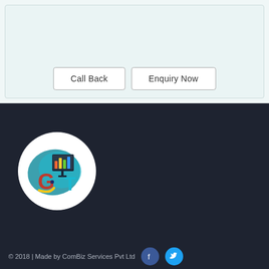[Figure (screenshot): Call Back and Enquiry Now buttons on a light teal/white form background area]
[Figure (logo): GT logo: circular white background with colorful bar chart graphic and GT letters in teal and red]
© 2018 | Made by ComBiz Services Pvt Ltd